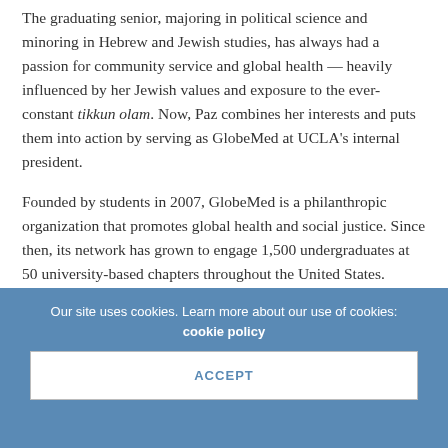The graduating senior, majoring in political science and minoring in Hebrew and Jewish studies, has always had a passion for community service and global health — heavily influenced by her Jewish values and exposure to the ever-constant tikkun olam. Now, Paz combines her interests and puts them into action by serving as GlobeMed at UCLA's internal president.
Founded by students in 2007, GlobeMed is a philanthropic organization that promotes global health and social justice. Since then, its network has grown to engage 1,500 undergraduates at 50 university-based chapters throughout the United States. According to their website, "Our chapters are partnered one-to-one with community-based health
Our site uses cookies. Learn more about our use of cookies: cookie policy
ACCEPT